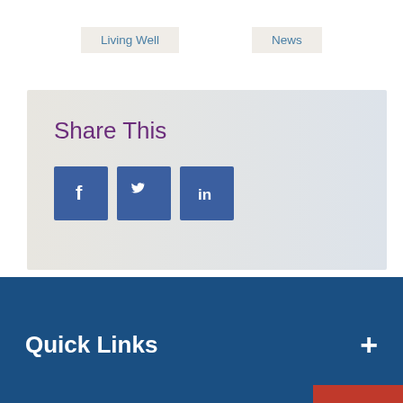Living Well
News
Share This
[Figure (infographic): Social share buttons: Facebook (f), Twitter (bird), LinkedIn (in)]
Quick Links +